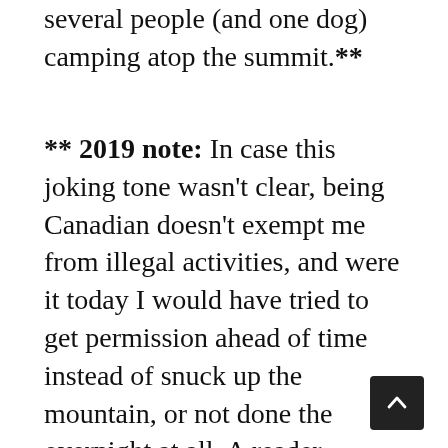several people (and one dog) camping atop the summit.**
** 2019 note: In case this joking tone wasn't clear, being Canadian doesn't exempt me from illegal activities, and were it today I would have tried to get permission ahead of time instead of snuck up the mountain, or not done the overnight at all. A reader pointed out that this is not responsible behaviour and I agree; it was a long time ago, and like other mistakes I've made on my travels I've learned a lot along the way.